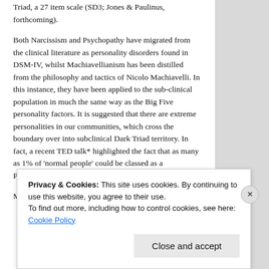Triad, a 27 item scale (SD3; Jones & Paulinus, forthcoming).
Both Narcissism and Psychopathy have migrated from the clinical literature as personality disorders found in DSM-IV, whilst Machiavellianism has been distilled from the philosophy and tactics of Nicolo Machiavelli. In this instance, they have been applied to the sub-clinical population in much the same way as the Big Five personality factors. It is suggested that there are extreme personalities in our communities, which cross the boundary over into subclinical Dark Triad territory. In fact, a recent TED talk* highlighted the fact that as many as 1% of 'normal people' could be classed as a Psychopath, rising to 4% in CEO's and business leaders.
Much of my research into the Dark Triad was
Privacy & Cookies: This site uses cookies. By continuing to use this website, you agree to their use.
To find out more, including how to control cookies, see here: Cookie Policy